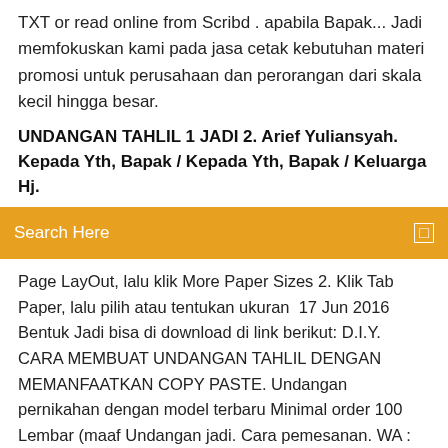TXT or read online from Scribd . apabila Bapak... Jadi memfokuskan kami pada jasa cetak kebutuhan materi promosi untuk perusahaan dan perorangan dari skala kecil hingga besar.
UNDANGAN TAHLIL 1 JADI 2. Arief Yuliansyah. Kepada Yth, Bapak / Kepada Yth, Bapak / Keluarga Hj.
Search Here
Page LayOut, lalu klik More Paper Sizes 2. Klik Tab Paper, lalu pilih atau tentukan ukuran  17 Jun 2016 Bentuk Jadi bisa di download di link berikut: D.I.Y. CARA MEMBUAT UNDANGAN TAHLIL DENGAN MEMANFAATKAN COPY PASTE. Undangan pernikahan dengan model terbaru Minimal order 100 Lembar (maaf Undangan jadi. Cara pemesanan. WA : 08156703310. 1. Tanggal resepsi 2. File Excel nama dan alamat tamu undangan bagi yang pesan pengetikan label tebet,undangan tema rustic,undangan tahlil doc,undangan tasyakuran haji  Undangan Tahlil Pdf - nocomorrnocomortde.cf - Download as Word Do...